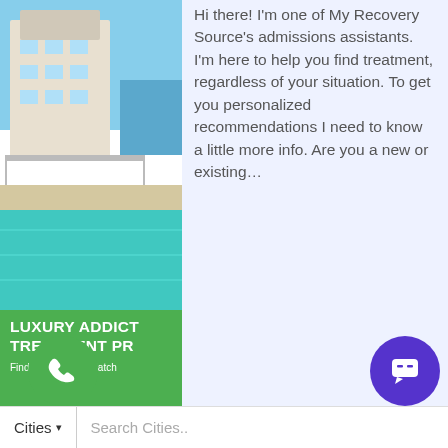[Figure (photo): Luxury house with pool and blue sky]
LUXURY ADDICTION TREATMENT PROGRAMS
Find Your Perfect Match
Hi there! I'm one of My Recovery Source's admissions assistants. I'm here to help you find treatment, regardless of your situation. To get you personalized recommendations I need to know a little more info. Are you a new or existing...
I'm a new patient
I'm an existing patient
Drug & A in M
[Figure (other): Green phone call button]
[Figure (other): Purple chat icon button]
Cities ▾    Search Cities..